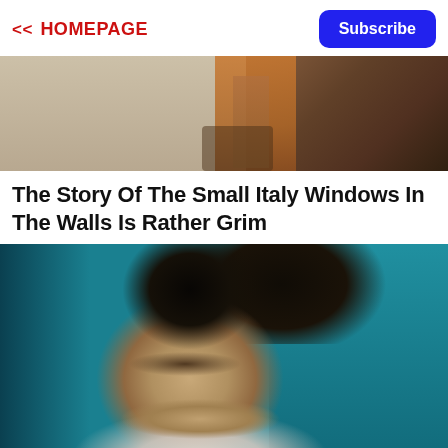<< HOMEPAGE
Subscribe
[Figure (photo): Top partial image of a person in orange/brown clothing against a stone wall background, street scene]
The Story Of The Small Italy Windows In The Walls Is Rather Grim
[Figure (photo): Portrait of a young dark-haired woman with brown eyes resting her chin on her hands against a teal/blue background]